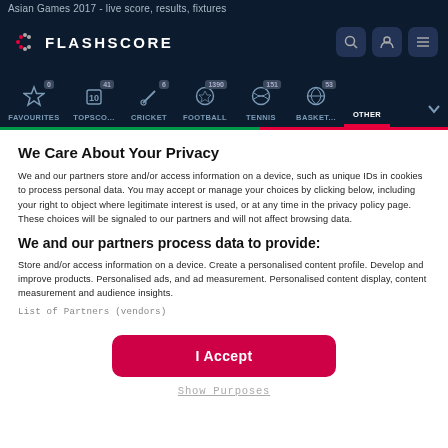Asian Games 2017 - live score, results, fixtures
[Figure (screenshot): Flashscore navigation bar with logo, search, user, and menu icons]
[Figure (screenshot): Sports category tabs: Favourites (0), Topsco... (41), Cricket (6), Football (1390), Tennis (151), Basket... (53), Other]
We Care About Your Privacy
We and our partners store and/or access information on a device, such as unique IDs in cookies to process personal data. You may accept or manage your choices by clicking below, including your right to object where legitimate interest is used, or at any time in the privacy policy page. These choices will be signaled to our partners and will not affect browsing data.
We and our partners process data to provide:
Store and/or access information on a device. Create a personalised content profile. Develop and improve products. Personalised ads, and ad measurement. Personalised content display, content measurement and audience insights.
List of Partners (vendors)
I Accept
Show Purposes